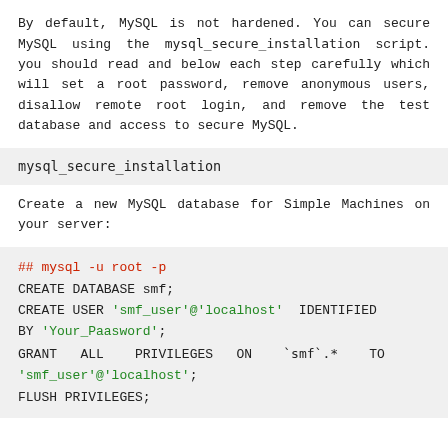By default, MySQL is not hardened. You can secure MySQL using the mysql_secure_installation script. you should read and below each step carefully which will set a root password, remove anonymous users, disallow remote root login, and remove the test database and access to secure MySQL.
mysql_secure_installation
Create a new MySQL database for Simple Machines on your server:
## mysql -u root -p
CREATE DATABASE smf;
CREATE USER 'smf_user'@'localhost' IDENTIFIED BY 'Your_Paasword';
GRANT ALL PRIVILEGES ON `smf`.* TO 'smf_user'@'localhost';
FLUSH PRIVILEGES;